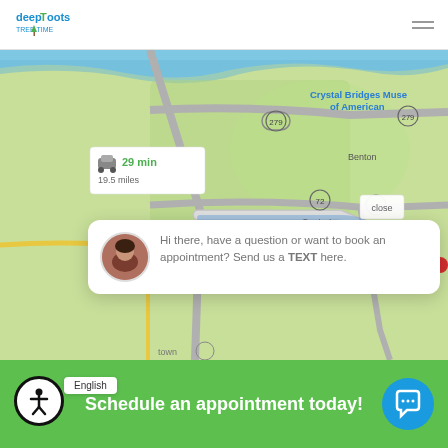Deep Roots Tree Time (logo) | hamburger menu
[Figure (map): Google Maps screenshot showing directions route near Bentonville/Centerton area, Arkansas. Shows Crystal Bridges Museum of American Art label, route via roads 279, 72, 102. A drive popup shows 29 min, 19.5 miles. Close button visible.]
Hi there, have a question or want to book an appointment? Send us a TEXT here.
Schedule an appointment today!